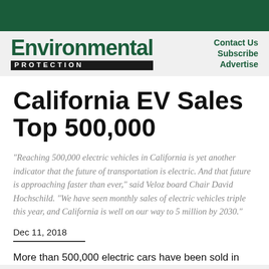Environmental Protection
California EV Sales Top 500,000
"Reaching 500,000 electric vehicles in California is yet another indicator that the future of transportation is electric. And that future is approaching faster than ever," said Veloz board Chair David Hochschild. "We have seen monthly sales of electric vehicles triple this year, and California is well on our way to 5 million by 2030."
Dec 11, 2018
More than 500,000 electric cars have been sold in